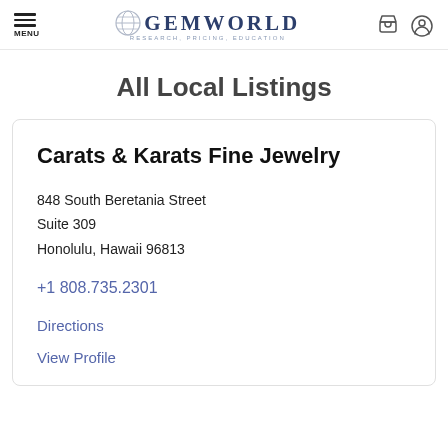GEMWORLD RESEARCH, PRICING, EDUCATION
All Local Listings
Carats & Karats Fine Jewelry
848 South Beretania Street
Suite 309
Honolulu, Hawaii 96813
+1 808.735.2301
Directions
View Profile